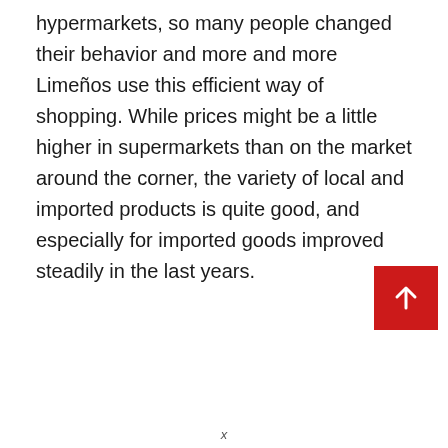hypermarkets, so many people changed their behavior and more and more Limeños use this efficient way of shopping. While prices might be a little higher in supermarkets than on the market around the corner, the variety of local and imported products is quite good, and especially for imported goods improved steadily in the last years.
[Figure (other): Red square button with a white upward arrow icon, positioned in the lower right area of the page.]